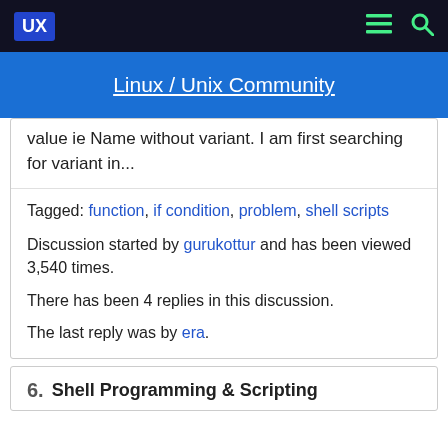UX | Linux / Unix Community
value ie Name without variant. I am first searching for variant in...
Tagged: function, if condition, problem, shell scripts
Discussion started by gurukottur and has been viewed 3,540 times.
There has been 4 replies in this discussion.
The last reply was by era.
6. Shell Programming & Scripting